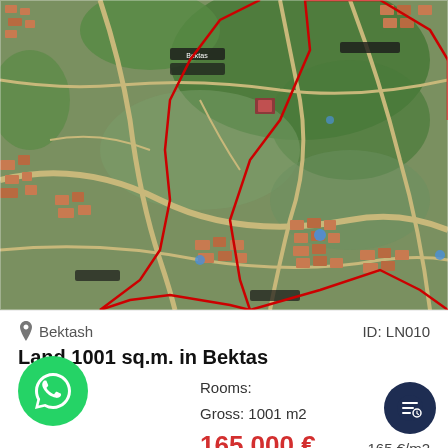[Figure (map): Aerial satellite map view of Bektash/Bektas area showing residential buildings, roads, and green areas with red boundary lines marking a land parcel of 1001 sq.m.]
Bektash
ID: LN010
Land 1001 sq.m. in Bektas
Rooms:
Gross: 1001 m2
165,000 €
165 €/m2